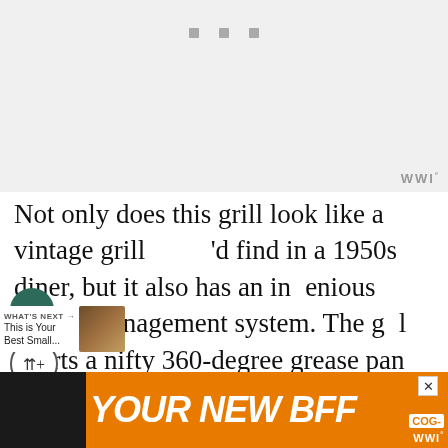[Figure (other): Gray placeholder ad area with three small gray squares at top center and a wordmark 'WWI' with degree symbol at bottom right]
Not only does this grill look like a vintage grill you'd find in a 1950s diner, but it also has an ingenious grease management system. The grill sports a nifty 360-degree grease pan that channels the grease into the cup so you never make a mess.
[Figure (other): Bottom advertisement banner with orange background, black dog silhouette on left, bold italic white text 'YOUR NEW BFF', close X button, and small wordmark at right]